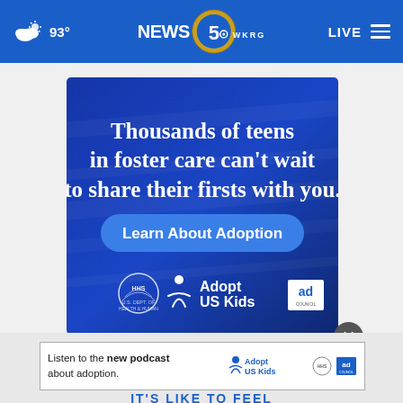WKRG NEWS 5 — 93° LIVE
[Figure (screenshot): Advertisement for AdoptUSKids/Ad Council: dark blue textured background with white bold text reading 'Thousands of teens in foster care can't wait to share their firsts with you.' A lighter blue rounded button says 'Learn About Adoption'. Bottom logos: HHS eagle seal, AdoptUSKids figure+text, Ad Council 'ad' square logo.]
Listen to the new podcast about adoption.
[Figure (logo): AdoptUSKids logo with HHS seal and Ad Council logo in small banner ad]